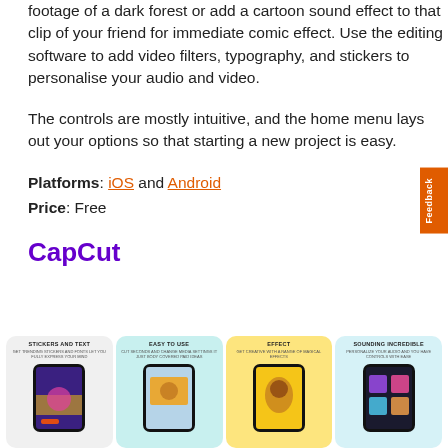footage of a dark forest or add a cartoon sound effect to that clip of your friend for immediate comic effect. Use the editing software to add video filters, typography, and stickers to personalise your audio and video.
The controls are mostly intuitive, and the home menu lays out your options so that starting a new project is easy.
Platforms: iOS and Android
Price: Free
CapCut
[Figure (screenshot): Four smartphone screenshots showing CapCut app features: Stickers and Text, Easy to Use, Effect, Sounding Incredible]